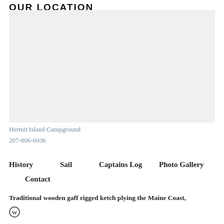OUR LOCATION
[Figure (map): Embedded map showing location, appears blank/white in this render]
Hermit Island Campground
207-806-6936
History
Sail
Captains Log
Photo Gallery
Contact
Traditional wooden gaff rigged ketch plying the Maine Coast,
[Figure (logo): WordPress logo icon]